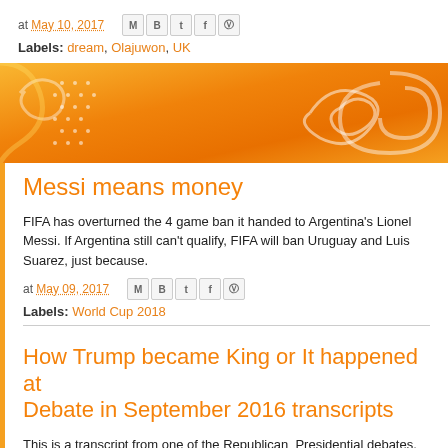at May 10, 2017
Labels: dream, Olajuwon, UK
[Figure (illustration): Orange decorative banner with swirling patterns and dot grid motifs]
Messi means money
FIFA has overturned the 4 game ban it handed to Argentina's Lionel Messi. If Argentina still can't qualify, FIFA will ban Uruguay and Luis Suarez, just because.
at May 09, 2017
Labels: World Cup 2018
How Trump became King or It happened at the Debate in September 2016 transcripts
This is a transcript from one of the Republican Presidential debates.